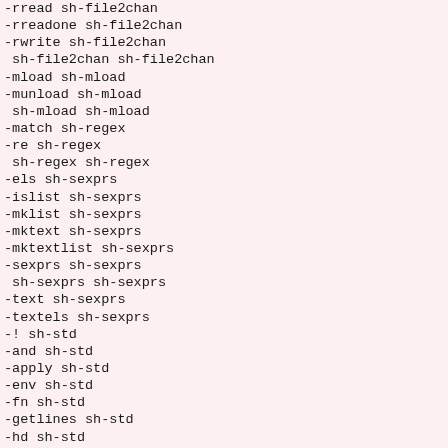-rread sh-file2chan
-rreadone sh-file2chan
-rwrite sh-file2chan
 sh-file2chan sh-file2chan
-mload sh-mload
-munload sh-mload
 sh-mload sh-mload
-match sh-regex
-re sh-regex
 sh-regex sh-regex
-els sh-sexprs
-islist sh-sexprs
-mklist sh-sexprs
-mktext sh-sexprs
-mktextlist sh-sexprs
-sexprs sh-sexprs
 sh-sexprs sh-sexprs
-text sh-sexprs
-textels sh-sexprs
-! sh-std
-and sh-std
-apply sh-std
-env sh-std
-fn sh-std
-getlines sh-std
-hd sh-std
-if sh-std
-index sh-std
-join sh-std
-no sh-std
-or sh-std